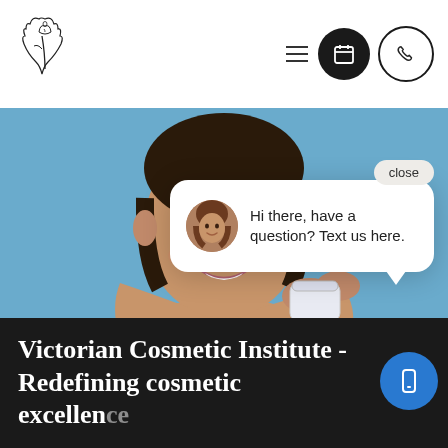[Figure (logo): Victorian Cosmetic Institute stylized logo - decorative script letter mark in black]
[Figure (photo): Smiling woman with dark hair looking down, holding a small white cosmetic cream jar against a blue background]
Hi there, have a question? Text us here.
Victorian Cosmetic Institute - Redefining cosmetic excellence